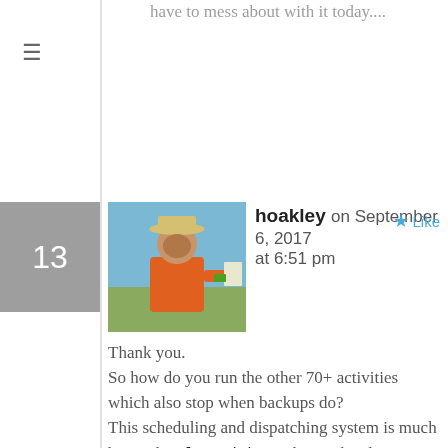have to mess about with it today....
13
[Figure (photo): Avatar photo of hoakley wearing a hat and orange jacket, writing outdoors]
hoakley on September 6, 2017 at 6:51 pm
Like
Thank you.
So how do you run the other 70+ activities which also stop when backups do?
This scheduling and dispatching system is much better than launchd. For those who sleep or shut down their Macs each night, it works fine. Unfortunately for those of us who keep our Macs running and awake continuously, it all falls apart after a week or so.
Thirty years ago, no one was worried about the issues which this dispatching system address: